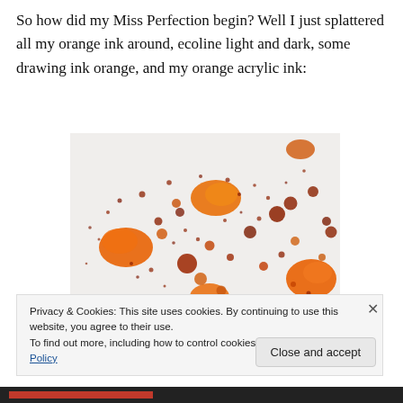So how did my Miss Perfection begin? Well I just splattered all my orange ink around, ecoline light and dark, some drawing ink orange, and my orange acrylic ink:
[Figure (photo): Photo of watercolor/mixed media paper with orange ink splatters of various sizes — large blobs of vivid orange acrylic ink and smaller dark reddish-brown dots scattered across textured white paper.]
Privacy & Cookies: This site uses cookies. By continuing to use this website, you agree to their use.
To find out more, including how to control cookies, see here: Cookie Policy
Close and accept